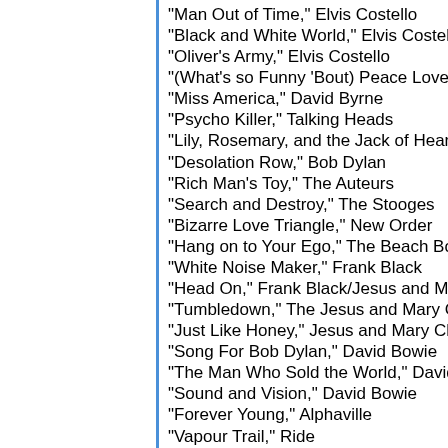"Man Out of Time," Elvis Costello
"Black and White World," Elvis Costello
"Oliver's Army," Elvis Costello
"(What's so Funny 'Bout) Peace Love and Unders…
"Miss America," David Byrne
"Psycho Killer," Talking Heads
"Lily, Rosemary, and the Jack of Hearts," Bob Dyl…
"Desolation Row," Bob Dylan
"Rich Man's Toy," The Auteurs
"Search and Destroy," The Stooges
"Bizarre Love Triangle," New Order
"Hang on to Your Ego," The Beach Boys/Frank Bl…
"White Noise Maker," Frank Black
"Head On," Frank Black/Jesus and Mary Chain
"Tumbledown," The Jesus and Mary Chain
"Just Like Honey," Jesus and Mary Chain
"Song For Bob Dylan," David Bowie
"The Man Who Sold the World," David Bowie
"Sound and Vision," David Bowie
"Forever Young," Alphaville
"Vapour Trail," Ride
"Man's Best Friend," Ice Cube
"Float On," Modest Mouse